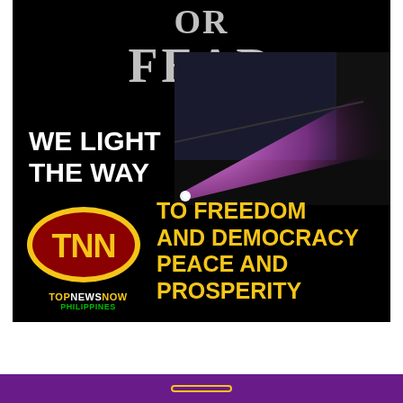[Figure (illustration): TopNewsNow Philippines promotional banner on black background. Shows partial text 'OR FEAR' at top in silver/grey serif font, a spotlight photograph (pink/purple light beam), 'WE LIGHT THE WAY' in bold white text, the TNN logo (red oval with yellow TNN letters), 'TOPNEWSNOW PHILIPPINES' branding, and 'TO FREEDOM AND DEMOCRACY PEACE AND PROSPERITY' in yellow bold text.]
OR FEAR
WE LIGHT THE WAY
TO FREEDOM AND DEMOCRACY PEACE AND PROSPERITY
TOPNEWS NOW PHILIPPINES